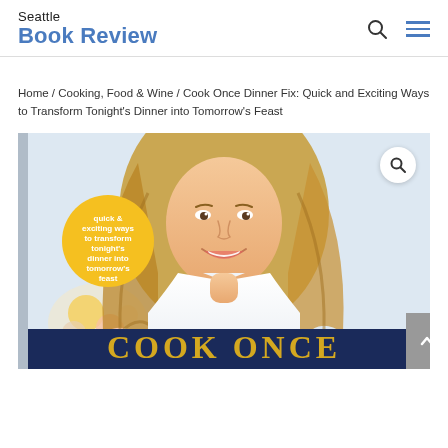Seattle Book Review
Home / Cooking, Food & Wine / Cook Once Dinner Fix: Quick and Exciting Ways to Transform Tonight's Dinner into Tomorrow's Feast
[Figure (photo): Book cover of 'Cook Once Dinner Fix' showing a smiling woman with long blonde hair wearing a white top, with flowers in the background and a yellow circular badge reading 'quick & exciting ways to transform tonight's dinner into tomorrow's feast'. The title 'COOK ONCE' appears at the bottom in large dark blue letters.]